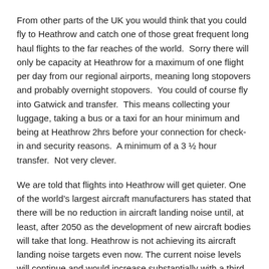From other parts of the UK you would think that you could fly to Heathrow and catch one of those great frequent long haul flights to the far reaches of the world.  Sorry there will only be capacity at Heathrow for a maximum of one flight per day from our regional airports, meaning long stopovers and probably overnight stopovers.  You could of course fly into Gatwick and transfer.  This means collecting your luggage, taking a bus or a taxi for an hour minimum and being at Heathrow 2hrs before your connection for check-in and security reasons.  A minimum of a 3 ½ hour transfer.  Not very clever.
We are told that flights into Heathrow will get quieter. One of the world's largest aircraft manufacturers has stated that there will be no reduction in aircraft landing noise until, at least, after 2050 as the development of new aircraft bodies will take that long. Heathrow is not achieving its aircraft landing noise targets even now. The current noise levels will continue and would increase substantially with a third runway.
A decision for Heathrow will mean 5 years of legal argument, plenty of work for lawyers and expert consultants, to be followed by the inevitable final decision that it is not possible to legally add a 3rd runway.  The decision would mean another 5-year delay to opening the airport that we so desperately need